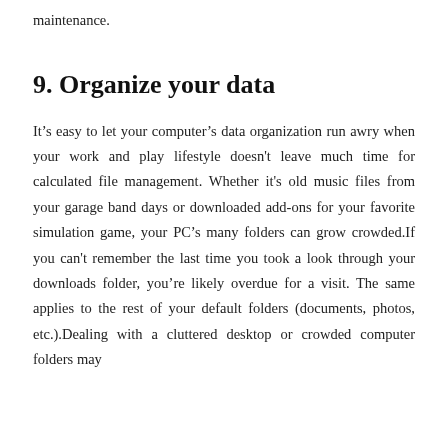maintenance.
9. Organize your data
It’s easy to let your computer’s data organization run awry when your work and play lifestyle doesn't leave much time for calculated file management. Whether it's old music files from your garage band days or downloaded add-ons for your favorite simulation game, your PC’s many folders can grow crowded.If you can't remember the last time you took a look through your downloads folder, you’re likely overdue for a visit. The same applies to the rest of your default folders (documents, photos, etc.).Dealing with a cluttered desktop or crowded computer folders may